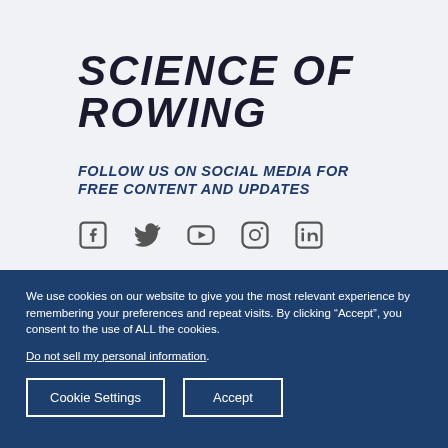SCIENCE OF ROWING
FOLLOW US ON SOCIAL MEDIA FOR FREE CONTENT AND UPDATES
[Figure (illustration): Social media icons: Facebook, Twitter, YouTube, Instagram, LinkedIn]
We use cookies on our website to give you the most relevant experience by remembering your preferences and repeat visits. By clicking “Accept”, you consent to the use of ALL the cookies.
Do not sell my personal information.
Cookie Settings   Accept